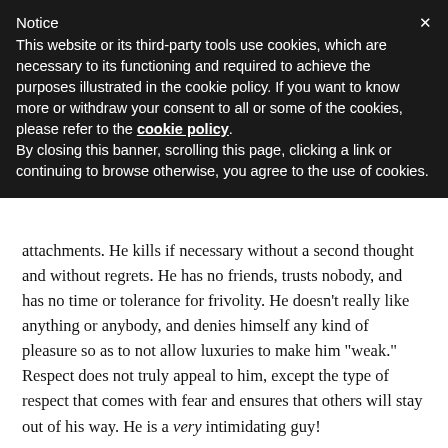Notice
This website or its third-party tools use cookies, which are necessary to its functioning and required to achieve the purposes illustrated in the cookie policy. If you want to know more or withdraw your consent to all or some of the cookies, please refer to the cookie policy. By closing this banner, scrolling this page, clicking a link or continuing to browse otherwise, you agree to the use of cookies.
attachments. He kills if necessary without a second thought and without regrets. He has no friends, trusts nobody, and has no time or tolerance for frivolity. He doesn't really like anything or anybody, and denies himself any kind of pleasure so as to not allow luxuries to make him "weak." Respect does not truly appeal to him, except the type of respect that comes with fear and ensures that others will stay out of his way. He is a very intimidating guy!